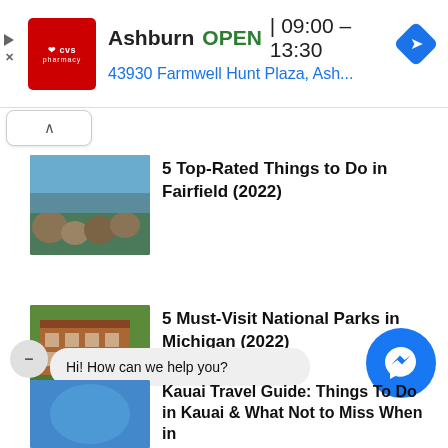[Figure (infographic): CVS Pharmacy advertisement banner showing location in Ashburn, OPEN status, hours 09:00-13:30, address 43930 Farmwell Hunt Plaza, Ash..., with navigation diamond icon]
[Figure (screenshot): Collapse/chevron up button]
[Figure (photo): Thumbnail image of rocky shoreline with water and hills for article about Fairfield]
5 Top-Rated Things to Do in Fairfield (2022)
[Figure (photo): Thumbnail image of a historic brick building for article about Michigan National Parks]
5 Must-Visit National Parks in Michigan (2022)
[Figure (screenshot): Chat popup with minimize button and messenger icon saying Hi! How can we help you?]
Hi! How can we help you?
[Figure (photo): Thumbnail image of blue background for Kauai Travel Guide article]
Kauai Travel Guide: Things To Do in Kauai & What Not to Miss When in